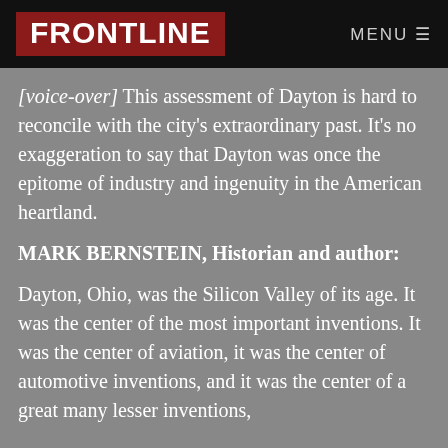FRONTLINE  MENU
[voice-over] This assessment of Dayton is hard to reconcile with the city's extraordinary past. It's no exaggeration to say that Dayton was once the epitome of industry and ingenuity in the American heartland.
MARK BERNSTEIN, Historian and author:
Dayton, Ohio, was the Silicon Valley of its age. It was the center of the most important inventions. It was the center of aviation, it was the center of automotive inventions, and it was the center of a great many lesser inventions,